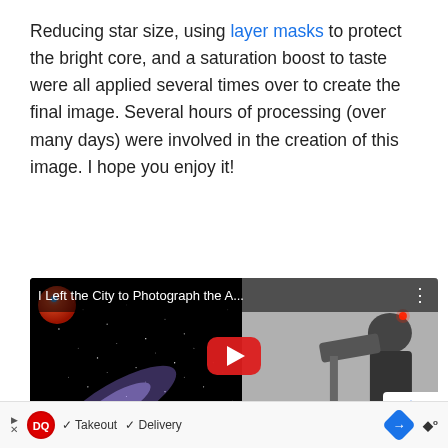Reducing star size, using layer masks to protect the bright core, and a saturation boost to taste were all applied several times over to create the final image. Several hours of processing (over many days) were involved in the creation of this image. I hope you enjoy it!
[Figure (screenshot): YouTube video thumbnail showing 'I Left the City to Photograph the A...' with a starfield/galaxy image on the left and a photographer with telescope on the right, with a YouTube play button in the center.]
[Figure (infographic): Advertisement bar at bottom showing Dairy Queen logo, checkmarks for Takeout and Delivery, a blue navigation diamond icon, and weather badge.]